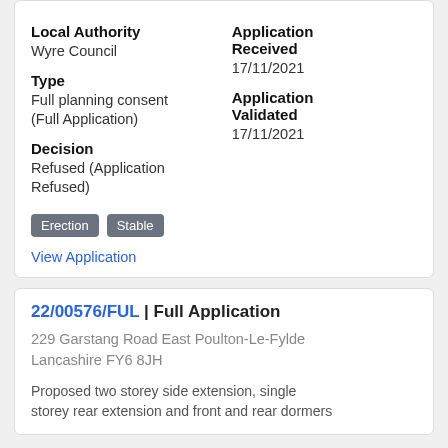Local Authority: Wyre Council
Type: Full planning consent (Full Application)
Decision: Refused (Application Refused)
Application Received: 17/11/2021
Application Validated: 17/11/2021
Erection
Stable
View Application
22/00576/FUL | Full Application
229 Garstang Road East Poulton-Le-Fylde Lancashire FY6 8JH
Proposed two storey side extension, single storey rear extension and front and rear dormers